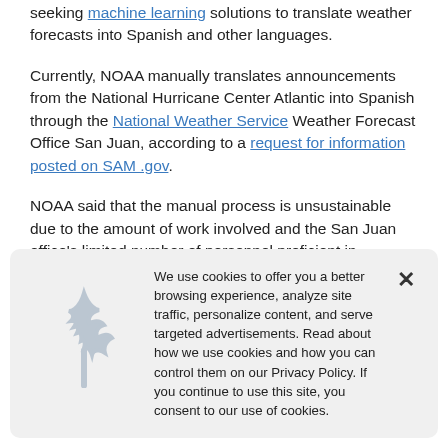seeking machine learning solutions to translate weather forecasts into Spanish and other languages.
Currently, NOAA manually translates announcements from the National Hurricane Center Atlantic into Spanish through the National Weather Service Weather Forecast Office San Juan, according to a request for information posted on SAM.gov.
NOAA said that the manual process is unsustainable due to the amount of work involved and the San Juan office's limited number of personnel proficient in Spanish.
We use cookies to offer you a better browsing experience, analyze site traffic, personalize content, and serve targeted advertisements. Read about how we use cookies and how you can control them on our Privacy Policy. If you continue to use this site, you consent to our use of cookies.